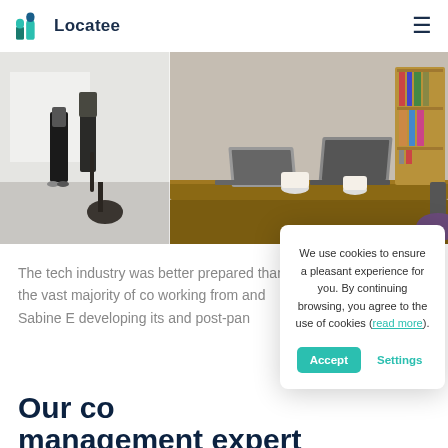Locatee
[Figure (photo): Two-panel office photo: left panel shows people standing in a minimalist white office space, right panel shows people around a wooden desk with laptops and a bookshelf in the background.]
The tech industry was better prepared than the vast majority of co working from and Sabine E developing its and post-pan
We use cookies to ensure a pleasant experience for you. By continuing browsing, you agree to the use of cookies (read more).
Our co management expert guest